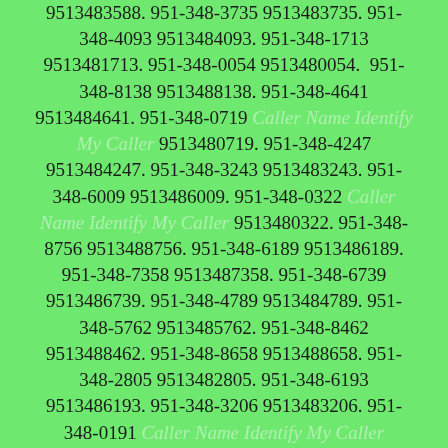9513483588. 951-348-3735 9513483735. 951-348-4093 9513484093. 951-348-1713 9513481713. 951-348-0054 9513480054. 951-348-8138 9513488138. 951-348-4641 9513484641. 951-348-0719 Caller Name Identify My Caller 9513480719. 951-348-4247 9513484247. 951-348-3243 9513483243. 951-348-6009 9513486009. 951-348-0322 Caller Name Identify My Caller 9513480322. 951-348-8756 9513488756. 951-348-6189 9513486189. 951-348-7358 9513487358. 951-348-6739 9513486739. 951-348-4789 9513484789. 951-348-5762 9513485762. 951-348-8462 9513488462. 951-348-8658 9513488658. 951-348-2805 9513482805. 951-348-6193 9513486193. 951-348-3206 9513483206. 951-348-0191 Caller Name Identify My Caller 9513480191. 951-348-3211 9513483211. 951-348-3484